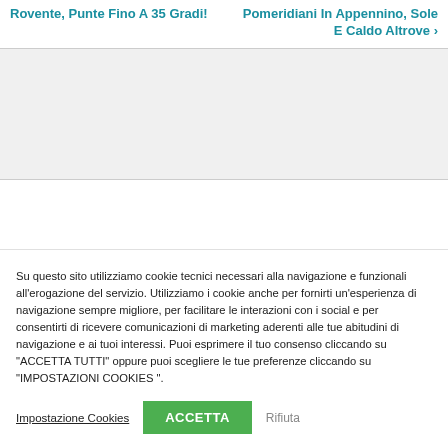Rovente, Punte Fino A 35 Gradi!
Pomeridiani In Appennino, Sole E Caldo Altrove ›
[Figure (other): Empty gray advertisement/banner area]
Su questo sito utilizziamo cookie tecnici necessari alla navigazione e funzionali all'erogazione del servizio. Utilizziamo i cookie anche per fornirti un'esperienza di navigazione sempre migliore, per facilitare le interazioni con i social e per consentirti di ricevere comunicazioni di marketing aderenti alle tue abitudini di navigazione e ai tuoi interessi. Puoi esprimere il tuo consenso cliccando su "ACCETTA TUTTI" oppure puoi scegliere le tue preferenze cliccando su "IMPOSTAZIONI COOKIES ".
Impostazione Cookies | ACCETTA | Rifiuta